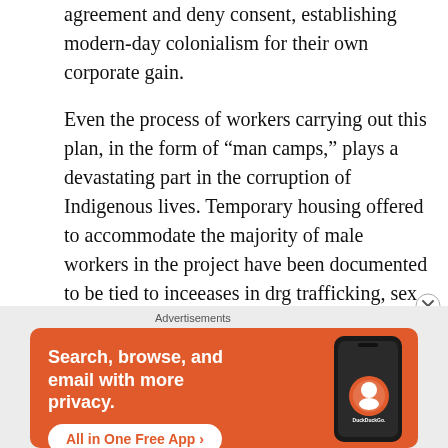agreement and deny consent, establishing modern-day colonialism for their own corporate gain.
Even the process of workers carrying out this plan, in the form of “man camps,” plays a devastating part in the corruption of Indigenous lives. Temporary housing offered to accommodate the majority of male workers in the project have been documented to be tied to inceeases in drg trafficking, sex trafficking, and violent crime. The MMIW, or Missing and Murdered Indigenous Women epidemic, is only
[Figure (screenshot): DuckDuckGo advertisement banner. Orange background with white text: 'Search, browse, and email with more privacy.' White button reading 'All in One Free App' in orange text. Right side shows a smartphone mockup with the DuckDuckGo logo and brand name.]